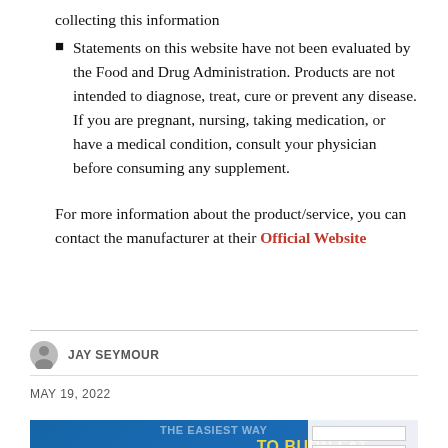collecting this information
Statements on this website have not been evaluated by the Food and Drug Administration. Products are not intended to diagnose, treat, cure or prevent any disease. If you are pregnant, nursing, taking medication, or have a medical condition, consult your physician before consuming any supplement.
For more information about the product/service, you can contact the manufacturer at their Official Website
JAY SEYMOUR
MAY 19, 2022
[Figure (photo): Promotional banner image for Keto Super Powder with text 'THE EASIEST WAY TO BURN FAT' and 'PREVIOUS Keto Super Powder...' overlay. A woman and a supplement product are shown on the left, and a form interface is visible on the right.]